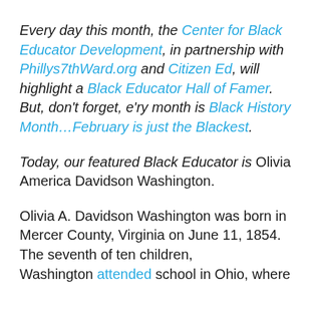Every day this month, the Center for Black Educator Development, in partnership with Phillys7thWard.org and Citizen Ed, will highlight a Black Educator Hall of Famer. But, don't forget, e'ry month is Black History Month…February is just the Blackest.
Today, our featured Black Educator is Olivia America Davidson Washington.
Olivia A. Davidson Washington was born in Mercer County, Virginia on June 11, 1854. The seventh of ten children, Washington attended school in Ohio, where